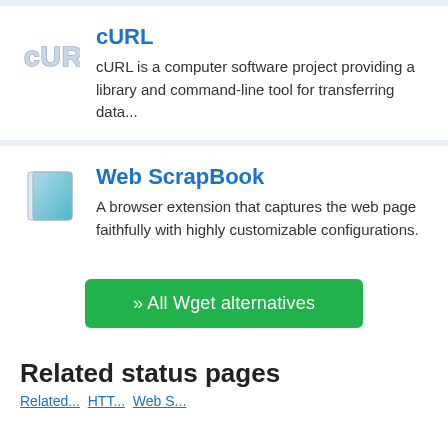[Figure (logo): cURL logo — stylized 'cURL' text in light gray with blue outline]
cURL
cURL is a computer software project providing a library and command-line tool for transferring data...
[Figure (logo): Web ScrapBook icon — a blue/teal gradient square book/page icon]
Web ScrapBook
A browser extension that captures the web page faithfully with highly customizable configurations.
» All Wget alternatives
Related status pages
Related status pages links (partially visible)